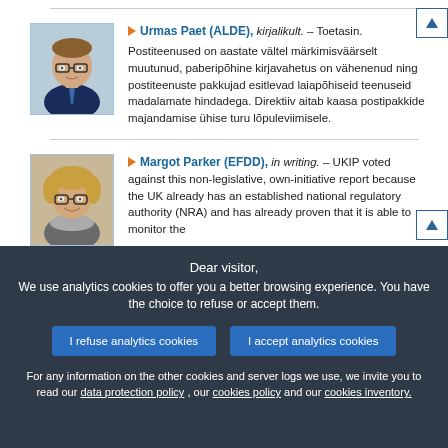Urmas Paet (ALDE), kirjalikult. – Toetasin. Postiteenused on aastate vältel märkimisväärselt muutunud, paberipõhine kirjavahetus on vähenenud ning postiteenuste pakkujad esitlevad laiapõhiseid teenuseid madalamate hindadega. Direktiiv aitab kaasa postipakkide majandamise ühise turu lõpuleviimisele.
Margot Parker (EFDD), in writing. – UKIP voted against this non-legislative, own-initiative report because the UK already has an established national regulatory authority (NRA) and has already proven that it is able to monitor the
Dear visitor, We use analytics cookies to offer you a better browsing experience. You have the choice to refuse or accept them.
For any information on the other cookies and server logs we use, we invite you to read our data protection policy , our cookies policy and our cookies inventory.